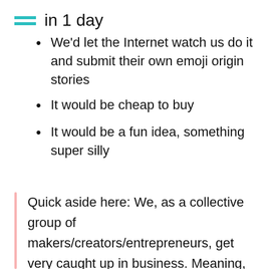in 1 day
We'd let the Internet watch us do it and submit their own emoji origin stories
It would be cheap to buy
It would be a fun idea, something super silly
Quick aside here: We, as a collective group of makers/creators/entrepreneurs, get very caught up in business. Meaning, we base decisions on outcomes that